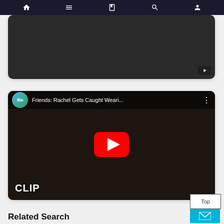Navigation bar with home, menu, book, search, and profile icons
[Figure (screenshot): Partial YouTube video card with dark background and YouTube icon in bottom right corner]
[Figure (screenshot): YouTube video thumbnail for 'Friends: Rachel Gets Caught Weari...' by TBS channel, showing a woman sitting on a couch smiling, with a red YouTube play button overlay and CLIP label in the bottom left]
[Figure (other): Back to Top button and email/envelope icon button in cyan]
Related Search